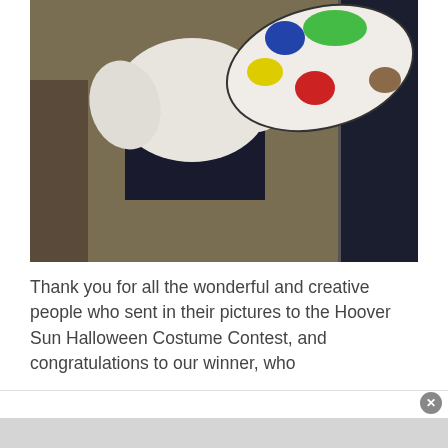[Figure (photo): A person wearing a white puffy shirt, red belt, and dark jeans, holding a large artist's paint palette with blue, green, yellow, and red paint blobs. A dark painting is visible on the right side. The person is posed as an artist Halloween costume.]
Thank you for all the wonderful and creative people who sent in their pictures to the Hoover Sun Halloween Costume Contest, and congratulations to our winner, who